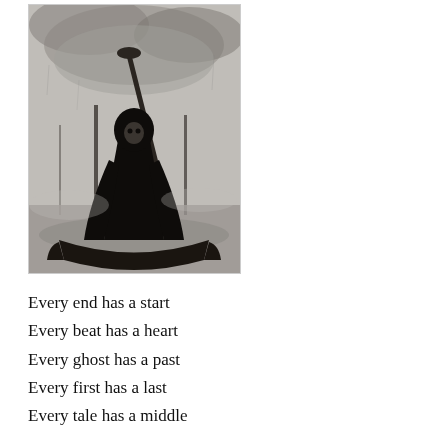[Figure (illustration): Black and white pencil/ink illustration of a dark hooded figure (reminiscent of the Grim Reaper or Charon) standing in a gondola-like boat on a misty, moody waterscape with a long oar, set against a dramatic cloudy sky.]
Every end has a start
Every beat has a heart
Every ghost has a past
Every first has a last
Every tale has a middle